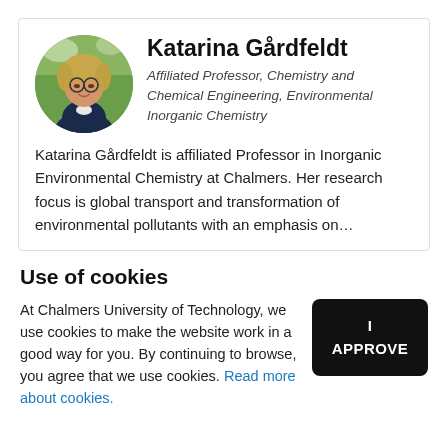[Figure (photo): Circular profile photo of Katarina Gårdfeldt, a woman with glasses and blonde hair wearing a dark jacket, outdoors with green foliage background.]
Katarina Gårdfeldt
Affiliated Professor, Chemistry and Chemical Engineering, Environmental Inorganic Chemistry
Katarina Gårdfeldt is affiliated Professor in Inorganic Environmental Chemistry at Chalmers. Her research focus is global transport and transformation of environmental pollutants with an emphasis on…
Use of cookies
At Chalmers University of Technology, we use cookies to make the website work in a good way for you. By continuing to browse, you agree that we use cookies. Read more about cookies.